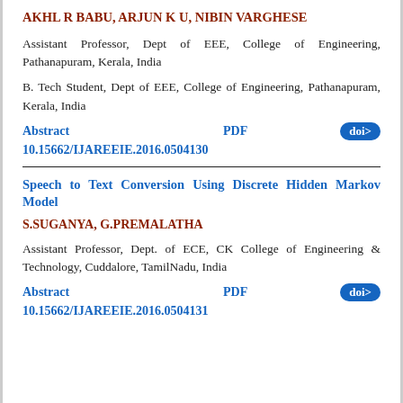AKHL R BABU, ARJUN K U, NIBIN VARGHESE
Assistant Professor, Dept of EEE, College of Engineering, Pathanapuram, Kerala, India
B. Tech Student, Dept of EEE, College of Engineering, Pathanapuram, Kerala, India
Abstract   PDF   doi>   10.15662/IJAREEIE.2016.0504130
Speech to Text Conversion Using Discrete Hidden Markov Model
S.SUGANYA, G.PREMALATHA
Assistant Professor, Dept. of ECE, CK College of Engineering & Technology, Cuddalore, TamilNadu, India
Abstract   PDF   doi>   10.15662/IJAREEIE.2016.0504131